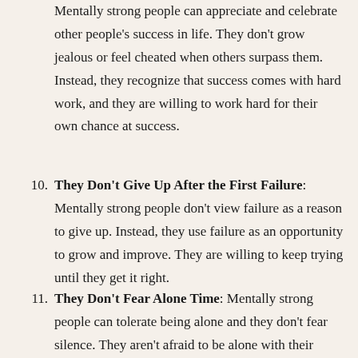Mentally strong people can appreciate and celebrate other people's success in life. They don't grow jealous or feel cheated when others surpass them. Instead, they recognize that success comes with hard work, and they are willing to work hard for their own chance at success.
10. They Don't Give Up After the First Failure: Mentally strong people don't view failure as a reason to give up. Instead, they use failure as an opportunity to grow and improve. They are willing to keep trying until they get it right.
11. They Don't Fear Alone Time: Mentally strong people can tolerate being alone and they don't fear silence. They aren't afraid to be alone with their thoughts and they can use downtime to be productive. They enjoy their own company and